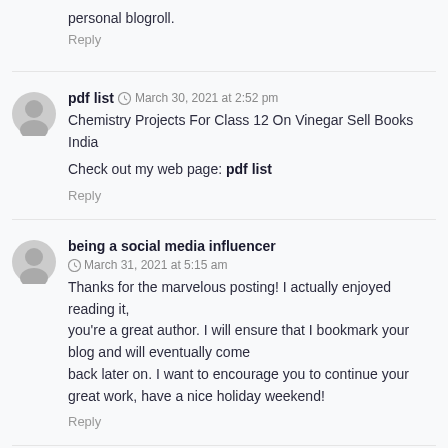personal blogroll.
Reply
pdf list · March 30, 2021 at 2:52 pm
Chemistry Projects For Class 12 On Vinegar Sell Books India
Check out my web page: pdf list
Reply
being a social media influencer · March 31, 2021 at 5:15 am
Thanks for the marvelous posting! I actually enjoyed reading it, you're a great author. I will ensure that I bookmark your blog and will eventually come back later on. I want to encourage you to continue your great work, have a nice holiday weekend!
Reply
http://inbooks.atthost24.pl/ibknxctxoqn · March 31, 2021 at 1:06 pm